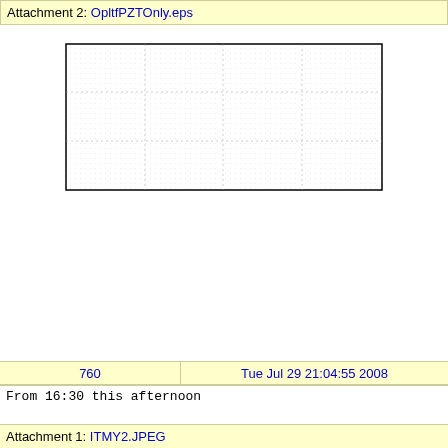Attachment 2: OpltfPZTOnly.eps
[Figure (other): A blank rectangular plot area with a dotted grid pattern, enclosed by a solid black border. No data or axes labels visible — appears to be an empty EPS plot frame.]
760    Tue Jul 29 21:04:55 2008
From 16:30 this afternoon
Attachment 1: ITMY2.JPEG